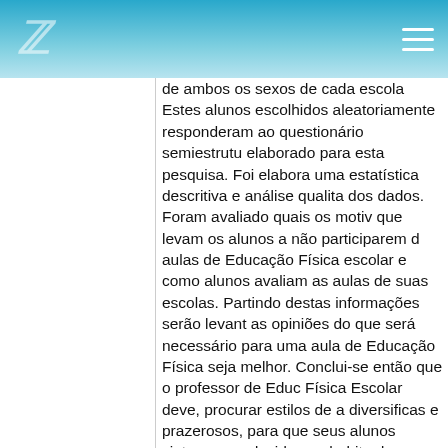[Logo] [Menu icon]
de ambos os sexos de cada escola Estes alunos escolhidos aleatoriamente responderam ao questionário semiestrutu elaborado para esta pesquisa. Foi elabora uma estatística descritiva e análise qualita dos dados. Foram avaliado quais os moti que levam os alunos a não participarem aulas de Educação Física escolar e com alunos avaliam as aulas de suas escolas. Partindo destas informações serão levant as opiniões do que será necessário para uma aula de Educação Física seja melhor Conclui-se então que o professor de Edu Física Escolar deve, procurar estilos de diversificas e prazerosos, para que seus alunos sintam-se seduzidos ao habito da cultura corporal de movimentos, diminuin evasão dos alunos do ensino médio da c de Três Pontas.
Abstract:
The purpose of this investigation was to observe the reasons that lead high school students from public schools in the city of Pontas not to participate in Physical Edu